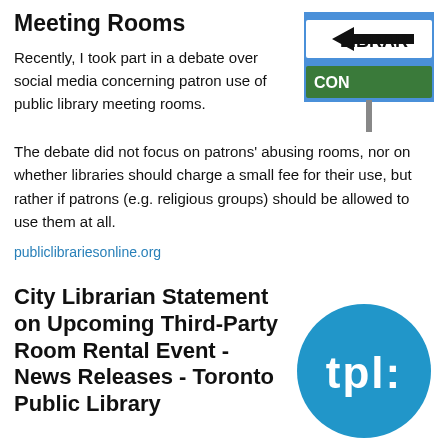Meeting Rooms
[Figure (photo): A street sign reading LIBRARY with a directional arrow, against a blue sky background.]
Recently, I took part in a debate over social media concerning patron use of public library meeting rooms. The debate did not focus on patrons' abusing rooms, nor on whether libraries should charge a small fee for their use, but rather if patrons (e.g. religious groups) should be allowed to use them at all.
publiclibrariesonline.org
City Librarian Statement on Upcoming Third-Party Room Rental Event - News Releases - Toronto Public Library
[Figure (logo): Toronto Public Library logo — a blue circle with white text reading 'tpl:']